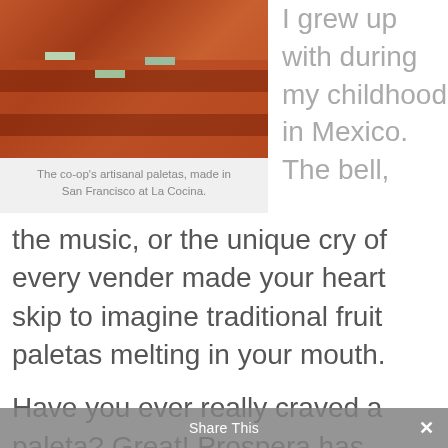[Figure (photo): Close-up photo of artisanal paletas (fruit ice bars) stacked together, reddish-brown color, with a green stick visible]
The co-op's artisanal paletas, made in San Francisco at La Cocina.
I grew up with during my childhood in Mexico. The bell, the music, or the unique cry of every vender made your heart skip to imagine traditional fruit paletas melting in your mouth.
Have you ever really craved a paleta? Great! Prospera has ventured into the field of food and is prepared to support the launch of a sixth cooperative: The Paleta Cooperative! The
Share This